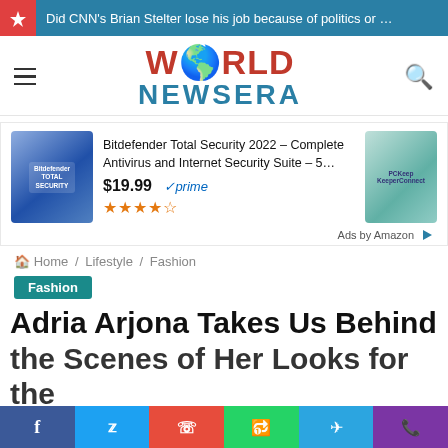Did CNN's Brian Stelter lose his job because of politics or …
WORLD NEWSERA
[Figure (other): Advertisement: Bitdefender Total Security 2022 product box image]
Bitdefender Total Security 2022 – Complete Antivirus and Internet Security Suite – 5… $19.99 ✓prime ★★★★☆
[Figure (other): Advertisement: Second product image (KeeperConnect USB)]
Ads by Amazon
🏠 Home / Lifestyle / Fashion
Fashion
Adria Arjona Takes Us Behind